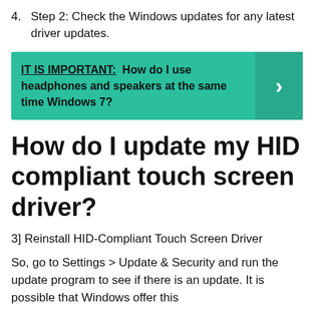4. Step 2: Check the Windows updates for any latest driver updates.
[Figure (infographic): Teal/green banner with bold text: IT IS IMPORTANT: How do I use headphones and speakers at the same time Windows 7? with a right-arrow chevron button on the right side.]
How do I update my HID compliant touch screen driver?
3] Reinstall HID-Compliant Touch Screen Driver
So, go to Settings > Update & Security and run the update program to see if there is an update. It is possible that Windows offer this